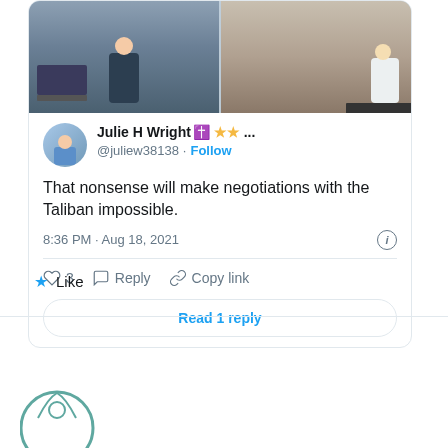[Figure (screenshot): Twitter/X screenshot showing a tweet by Julie H Wright with a cross emoji and two star emojis, handle @juliew38138 with Follow button. Tweet text: 'That nonsense will make negotiations with the Taliban impossible.' Posted 8:36 PM · Aug 18, 2021. Actions: heart (3), Reply, Copy link. Button: Read 1 reply. Below the card is a Like section with a blue star.]
[Figure (logo): Circular logo/icon partially visible at bottom left of the page]